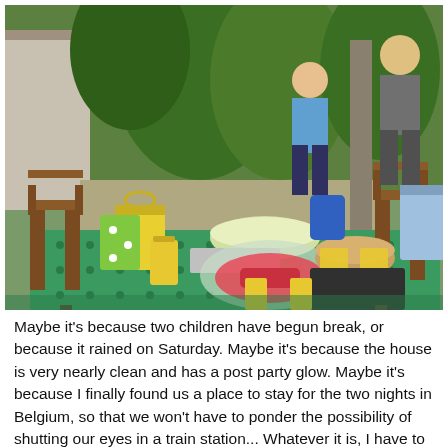[Figure (photo): Outdoor backyard party scene with a table covered in a green patterned tablecloth. On the table are drinks, watermelon slices, bowls, trays, and various party items. Two people are visible in the background — a child in a blue shirt and an adult in grey. Lush green vegetation and garden chairs are visible.]
Maybe it's because two children have begun break, or because it rained on Saturday. Maybe it's because the house is very nearly clean and has a post party glow. Maybe it's because I finally found us a place to stay for the two nights in Belgium, so that we won't have to ponder the possibility of shutting our eyes in a train station... Whatever it is, I have to say I feel pretty good for a Monday morning. There is still lots